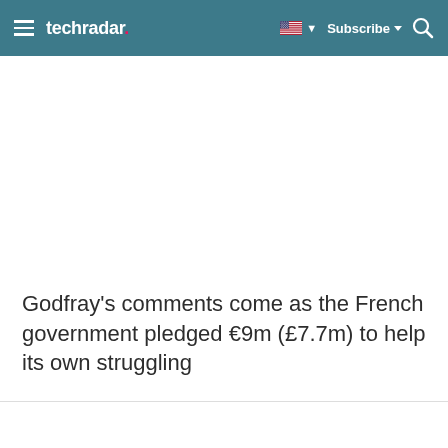techradar — Subscribe
Godfray's comments come as the French government pledged €9m (£7.7m) to help its own struggling